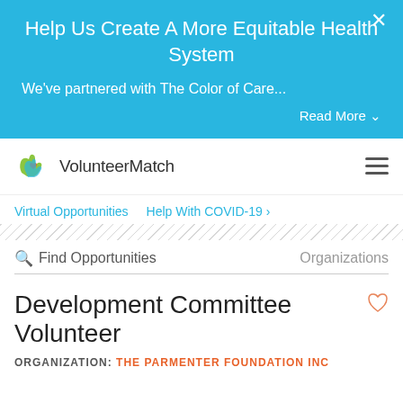Help Us Create A More Equitable Health System
We've partnered with The Color of Care...
Read More
VolunteerMatch
Virtual Opportunities
Help With COVID-19 >
Find Opportunities   Organizations
Development Committee Volunteer
ORGANIZATION: THE PARMENTER FOUNDATION INC